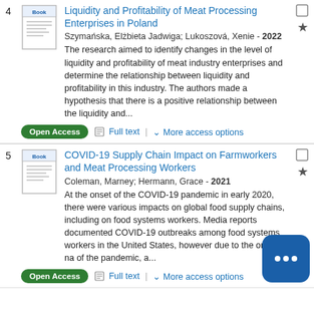4. Liquidity and Profitability of Meat Processing Enterprises in Poland. Szymańska, Elżbieta Jadwiga; Lukoszová, Xenie - 2022. The research aimed to identify changes in the level of liquidity and profitability of meat industry enterprises and determine the relationship between liquidity and profitability in this industry. The authors made a hypothesis that there is a positive relationship between the liquidity and...
5. COVID-19 Supply Chain Impact on Farmworkers and Meat Processing Workers. Coleman, Marney; Hermann, Grace - 2021. At the onset of the COVID-19 pandemic in early 2020, there were various impacts on global food supply chains, including on food systems workers. Media reports documented COVID-19 outbreaks among food systems workers in the United States, however due to the ongoing na of the pandemic, a...